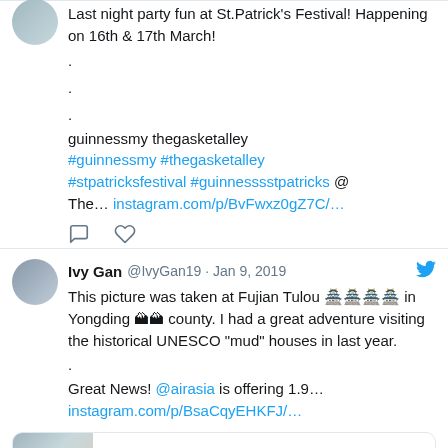Last night party fun at St.Patrick's Festival! Happening on 16th & 17th March!
.
.
.
guinnessmy thegasketalley
#guinnessmy #thegasketalley #stpatricksfestival #guinnesssstpatricks @ The… instagram.com/p/BvFwxz0gZ7C/…
[Figure (other): Comment and heart icons (tweet action buttons)]
Ivy Gan @IvyGan19 · Jan 9, 2019
This picture was taken at Fujian Tulou 🏯🏯🏯🏯 in Yongding 🏔🏔 county. I had a great adventure visiting the historical UNESCO "mud" houses in last year.
.
Great News! @airasia is offering 1.9… instagram.com/p/BsaCqyEHKFJ/…
[Figure (screenshot): Instagram link preview card showing a photo thumbnail and instagram.com text]